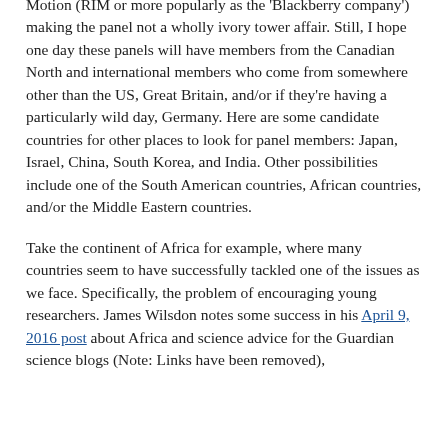Motion (RIM or more popularly as the 'Blackberry company') making the panel not a wholly ivory tower affair. Still, I hope one day these panels will have members from the Canadian North and international members who come from somewhere other than the US, Great Britain, and/or if they're having a particularly wild day, Germany. Here are some candidate countries for other places to look for panel members: Japan, Israel, China, South Korea, and India. Other possibilities include one of the South American countries, African countries, and/or the Middle Eastern countries.
Take the continent of Africa for example, where many countries seem to have successfully tackled one of the issues as we face. Specifically, the problem of encouraging young researchers. James Wilsdon notes some success in his April 9, 2016 post about Africa and science advice for the Guardian science blogs (Note: Links have been removed),